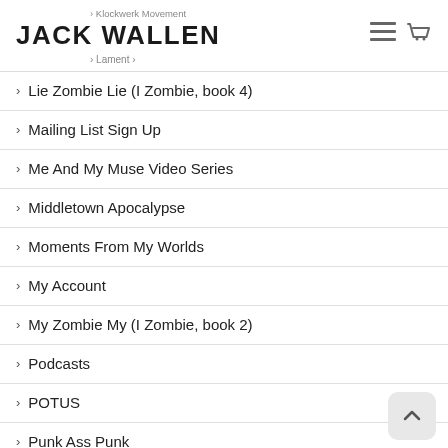JACK WALLEN
Lie Zombie Lie (I Zombie, book 4)
Mailing List Sign Up
Me And My Muse Video Series
Middletown Apocalypse
Moments From My Worlds
My Account
My Zombie My (I Zombie, book 2)
Podcasts
POTUS
Punk Ass Punk
Purchase Confirmation
Purchase History
Reunion (I Zombie serial)
Screampark
Shero